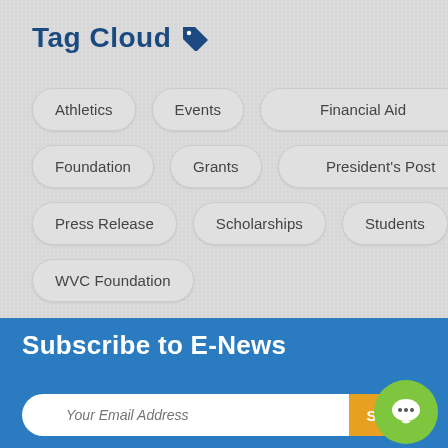Tag Cloud
Athletics
Events
Financial Aid
Foundation
Grants
President's Post
Press Release
Scholarships
Students
WVC Foundation
Subscribe to E-News
Your Email Address
Submit